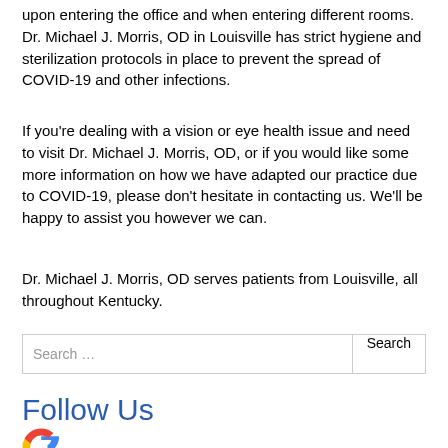upon entering the office and when entering different rooms. Dr. Michael J. Morris, OD in Louisville has strict hygiene and sterilization protocols in place to prevent the spread of COVID-19 and other infections.
If you're dealing with a vision or eye health issue and need to visit Dr. Michael J. Morris, OD, or if you would like some more information on how we have adapted our practice due to COVID-19, please don't hesitate in contacting us. We'll be happy to assist you however we can.
Dr. Michael J. Morris, OD serves patients from Louisville, all throughout Kentucky.
Search ...
Follow Us
[Figure (logo): Google G logo partial view at bottom of page]